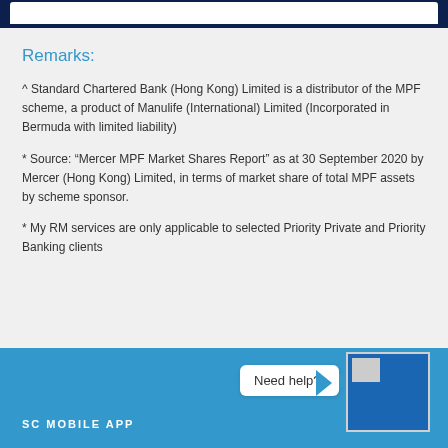Remarks:
^ Standard Chartered Bank (Hong Kong) Limited is a distributor of the MPF scheme, a product of Manulife (International) Limited (Incorporated in Bermuda with limited liability)
* Source: “Mercer MPF Market Shares Report” as at 30 September 2020 by Mercer (Hong Kong) Limited, in terms of market share of total MPF assets by scheme sponsor.
* My RM services are only applicable to selected Priority Private and Priority Banking clients
SC MOBILE APP